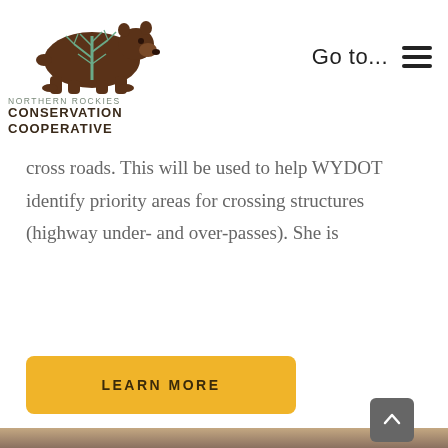[Figure (logo): Northern Rockies Conservation Cooperative bear logo with tree silhouette inside, brown bear walking with teal tree branches]
Go to...  ☰
cross roads. This will be used to help WYDOT identify priority areas for crossing structures (highway under- and over-passes). She is
LEARN MORE
[Figure (photo): Person wearing a plaid flannel shirt holding a cup outdoors, with bare trees in background]